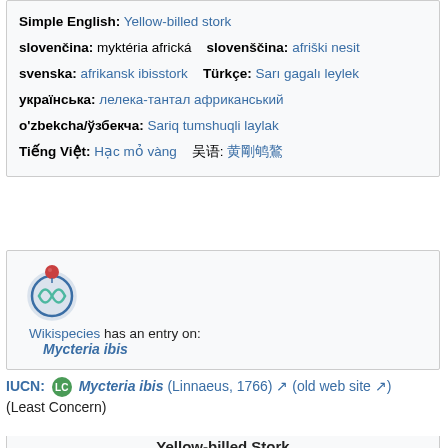Simple English: Yellow-billed stork
slovenčina: myktéria africká   slovenščina: afriški nesit
svenska: afrikansk ibisstork   Türkçe: Sarı gagalı leylek
українська: лелека-тантал африканський
o'zbekcha/ўзбекча: Sariq tumshuqli laylak
Tiếng Việt: Hạc mỏ vàng   吴语: 黃嘴鹮鸛
[Figure (logo): Wikispecies logo - circular DNA double helix on blue globe with red sphere on top]
Wikispecies has an entry on: Mycteria ibis
IUCN: LC Mycteria ibis (Linnaeus, 1766) (old web site) (Least Concern)
Yellow-billed Stork